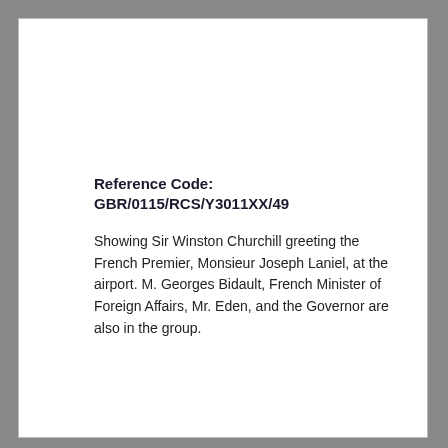Reference Code: GBR/0115/RCS/Y3011XX/49
Showing Sir Winston Churchill greeting the French Premier, Monsieur Joseph Laniel, at the airport. M. Georges Bidault, French Minister of Foreign Affairs, Mr. Eden, and the Governor are also in the group.